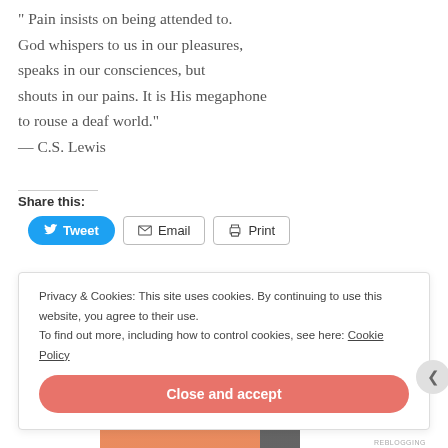"Pain insists on being attended to. God whispers to us in our pleasures, speaks in our consciences, but shouts in our pains. It is His megaphone to rouse a deaf world." — C.S. Lewis
Share this:
[Figure (other): Share buttons: Tweet (blue rounded), Email (outlined), Print (outlined)]
Privacy & Cookies: This site uses cookies. By continuing to use this website, you agree to their use. To find out more, including how to control cookies, see here: Cookie Policy
Close and accept